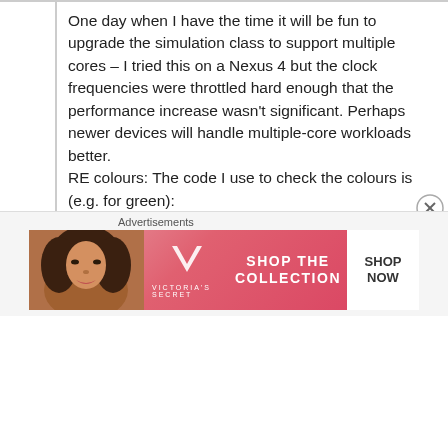One day when I have the time it will be fun to upgrade the simulation class to support multiple cores – I tried this on a Nexus 4 but the clock frequencies were throttled hard enough that the performance increase wasn't significant. Perhaps newer devices will handle multiple-core workloads better.
RE colours: The code I use to check the colours is (e.g. for green):
where (r,g,b) are the colour components of the pixel between 0 and 255.
[Figure (photo): Victoria's Secret advertisement banner showing a model and 'Shop the Collection / Shop Now' call to action]